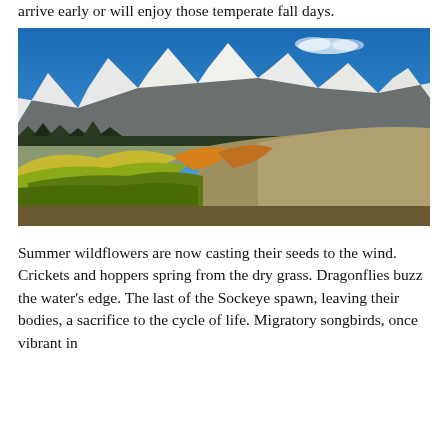arrive early or will enjoy those temperate fall days.
[Figure (photo): Autumn landscape with snow-capped mountains in the background under a blue sky, and golden/yellow aspen trees in the foreground on rolling hills]
Summer wildflowers are now casting their seeds to the wind. Crickets and hoppers spring from the dry grass. Dragonflies buzz the water's edge. The last of the Sockeye spawn, leaving their bodies, a sacrifice to the cycle of life. Migratory songbirds, once vibrant in